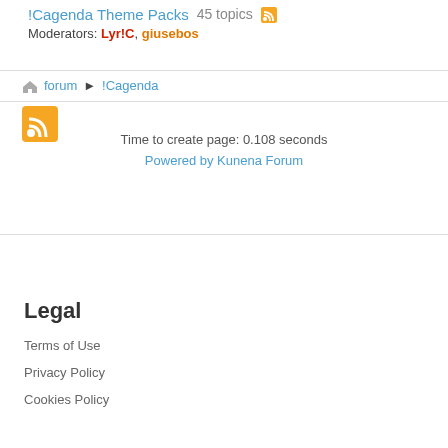!Cagenda Theme Packs 45 topics
Moderators: Lyr!C, giusebos
forum > !Cagenda
Time to create page: 0.108 seconds
Powered by Kunena Forum
Legal
Terms of Use
Privacy Policy
Cookies Policy